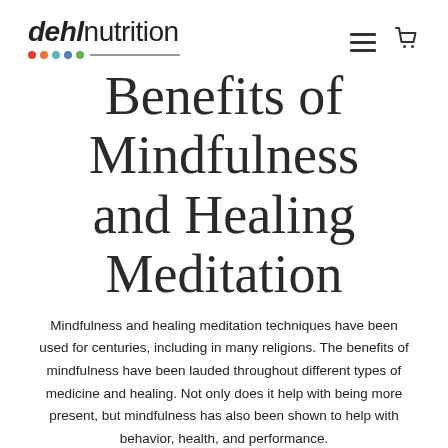dehlnutrition
Benefits of Mindfulness and Healing Meditation
Mindfulness and healing meditation techniques have been used for centuries, including in many religions. The benefits of mindfulness have been lauded throughout different types of medicine and healing. Not only does it help with being more present, but mindfulness has also been shown to help with behavior, health, and performance.
Mindfulness and Healing Meditation